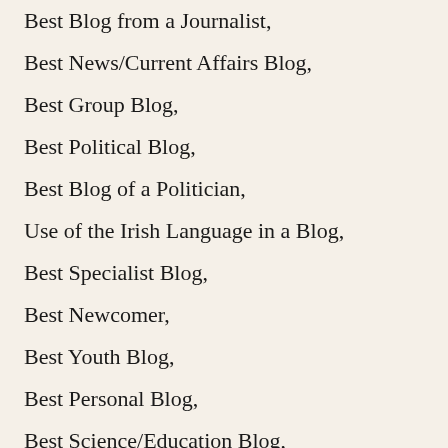Best Blog from a Journalist,
Best News/Current Affairs Blog,
Best Group Blog,
Best Political Blog,
Best Blog of a Politician,
Use of the Irish Language in a Blog,
Best Specialist Blog,
Best Newcomer,
Best Youth Blog,
Best Personal Blog,
Best Science/Education Blog,
Best Humour Blog,
Best Blog Post,
Best Blog,